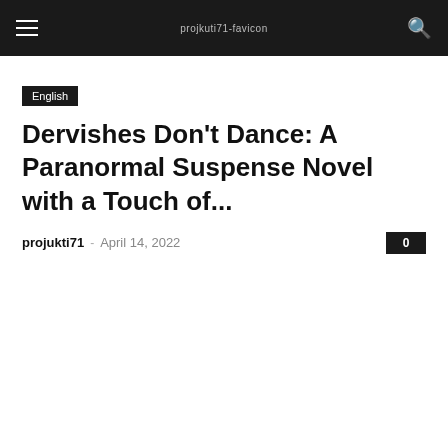projkuti71-favicon
English
Dervishes Don't Dance: A Paranormal Suspense Novel with a Touch of...
projukti71 - April 14, 2022 0